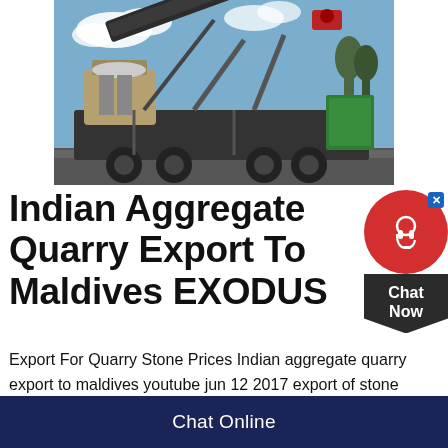[Figure (photo): Outdoor photograph of heavy quarry/aggregate crushing machinery on a transport trailer, set against a blue sky with trees and industrial equipment in the background.]
Indian Aggregate Quarry Export To Maldives EXODUS
Export For Quarry Stone Prices Indian aggregate quarry export to maldives youtube jun 12 2017 export of stone aggregate to maldives under new delhi and mumbai purchase sand stone tiles from small quarry owners and export it indian real
Chat Online